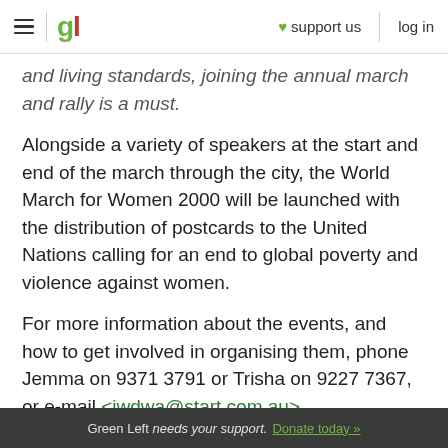gl | ♥ support us | log in
and living standards, joining the annual march and rally is a must.
Alongside a variety of speakers at the start and end of the march through the city, the World March for Women 2000 will be launched with the distribution of postcards to the United Nations calling for an end to global poverty and violence against women.
For more information about the events, and how to get involved in organising them, phone Jemma on 9371 3791 or Trisha on 9227 7367, or e-mail <iwdwa@start.com.au>.
Green Left needs your support. Donate today »